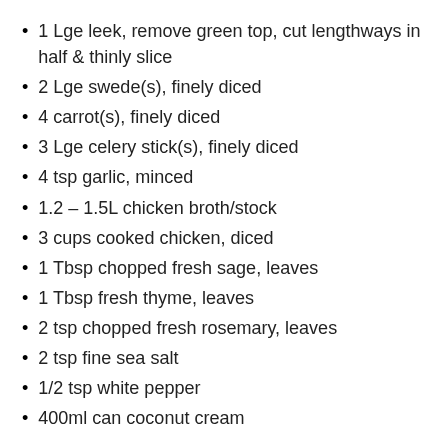1 Lge leek, remove green top, cut lengthways in half & thinly slice
2 Lge swede(s), finely diced
4 carrot(s), finely diced
3 Lge celery stick(s), finely diced
4 tsp garlic, minced
1.2 – 1.5L chicken broth/stock
3 cups cooked chicken, diced
1 Tbsp chopped fresh sage, leaves
1 Tbsp fresh thyme, leaves
2 tsp chopped fresh rosemary, leaves
2 tsp fine sea salt
1/2 tsp white pepper
400ml can coconut cream
Directions
Heat a large saucepan over medium heat. Add the